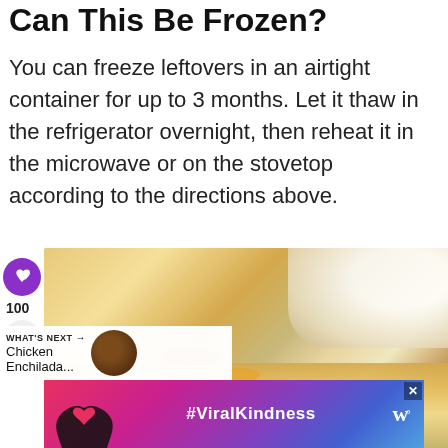Can This Be Frozen?
You can freeze leftovers in an airtight container for up to 3 months. Let it thaw in the refrigerator overnight, then reheat it in the microwave or on the stovetop according to the directions above.
[Figure (photo): Food photo showing a bowl with enchilada-style dish, with a heart/like button (purple circle), count of 100, share icon, a 'What's Next' banner showing Chicken Enchilada..., and a #ViralKindness advertisement banner at the bottom.]